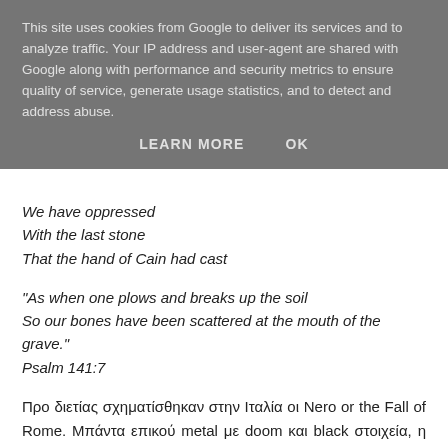This site uses cookies from Google to deliver its services and to analyze traffic. Your IP address and user-agent are shared with Google along with performance and security metrics to ensure quality of service, generate usage statistics, and to detect and address abuse.
LEARN MORE   OK
We have oppressed
With the last stone
That the hand of Cain had cast
“As when one plows and breaks up the soil
So our bones have been scattered at the mouth of the grave.”
Psalm 141:7
Προ διετίας σχηματίσθηκαν στην Ιταλία οι Nero or the Fall of Rome. Μπάντα επικού metal με doom και black στοιχεία, η οποία δηλώνει ως επιρροές συγκροτήματα όπως οι Bathory, Celtic Frost, Cirith Ungol, Hellhammer, Primordial, Satyricon, Darkthrone και μας παρουσιάζεται κάπως έτσι: